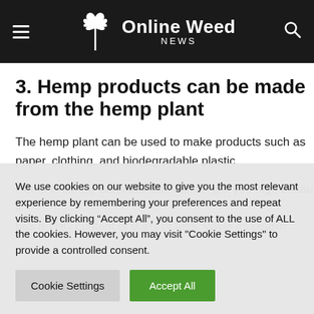Online Weed NEWS
3. Hemp products can be made from the hemp plant
The hemp plant can be used to make products such as paper, clothing, and biodegradable plastic.
Hemp is simply cannabis that cannot get you high because it has a THC content of 0.3% or less. While its cousin
We use cookies on our website to give you the most relevant experience by remembering your preferences and repeat visits. By clicking “Accept All”, you consent to the use of ALL the cookies. However, you may visit "Cookie Settings" to provide a controlled consent.